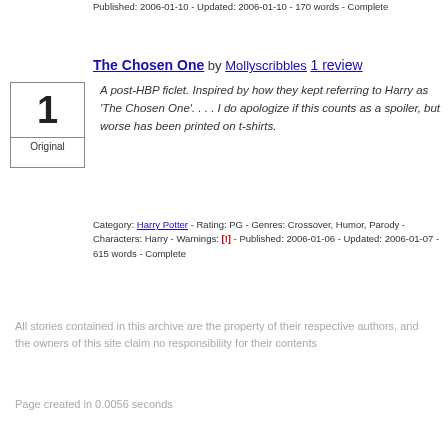Published: 2006-01-10 - Updated: 2006-01-10 - 170 words - Complete
The Chosen One by Mollyscribbles 1 review
A post-HBP ficlet. Inspired by how they kept referring to Harry as 'The Chosen One'. . . . I do apologize if this counts as a spoiler, but worse has been printed on t-shirts.
Category: Harry Potter - Rating: PG - Genres: Crossover, Humor, Parody - Characters: Harry - Warnings: [!] - Published: 2006-01-06 - Updated: 2006-01-07 - 615 words - Complete
All stories contained in this archive are the property of their respective authors, and the owners of this site claim no responsibility for their contents
Page created in 0.0056 seconds